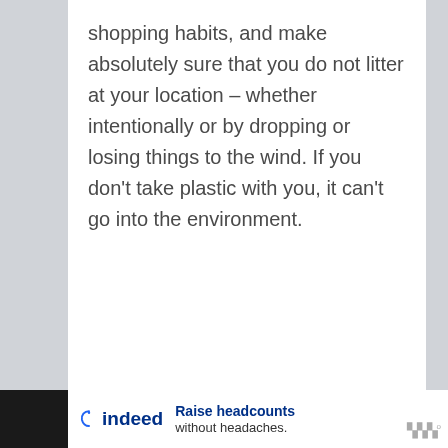shopping habits, and make absolutely sure that you do not litter at your location – whether intentionally or by dropping or losing things to the wind. If you don't take plastic with you, it can't go into the environment.
[Figure (other): Indeed advertisement banner at bottom of page: 'Raise headcounts without headaches.' with indeed logo and media controls]